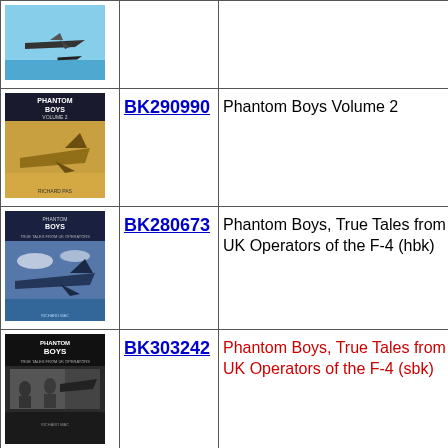| Image | Code | Title |
| --- | --- | --- |
| [book cover image] | BK290990 | Phantom Boys Volume 2 |
| [book cover image] | BK280673 | Phantom Boys, True Tales from UK Operators of the F-4 (hbk) |
| [book cover image] | BK303242 | Phantom Boys, True Tales from UK Operators of the F-4 (sbk) |
| [book cover image] | BK208567 | Phantom from the Cockpit, Flying the Legend |